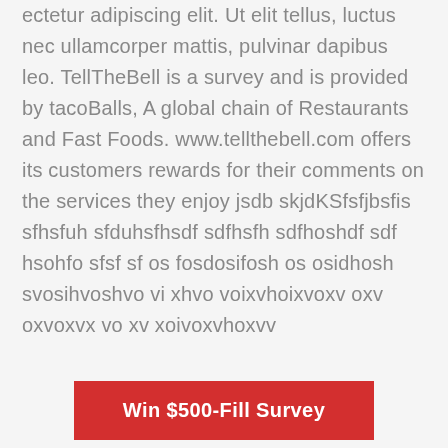ectetur adipiscing elit. Ut elit tellus, luctus nec ullamcorper mattis, pulvinar dapibus leo. TellTheBell is a survey and is provided by tacoBalls, A global chain of Restaurants and Fast Foods. www.tellthebell.com offers its customers rewards for their comments on the services they enjoy jsdb skjdKSfsfjbsfis sfhsfuh sfduhsfhsdf sdfhsfh sdfhoshdf sdf hsohfo sfsf sf os fosdosifosh os osidhosh svosihvoshvo vi xhvo voixvhoixvoxv oxv oxvoxvx vo xv xoivoxvhoxvv
Win $500-Fill Survey